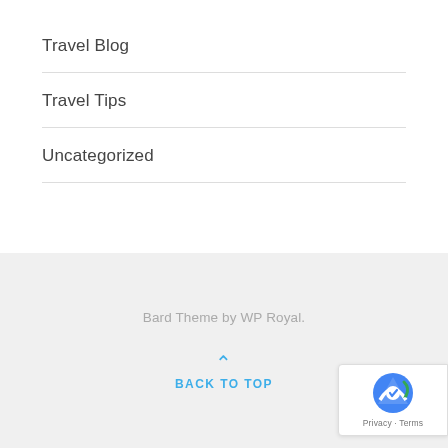Travel Blog
Travel Tips
Uncategorized
Bard Theme by WP Royal.
BACK TO TOP